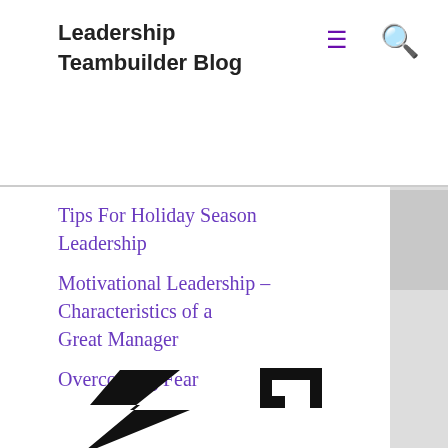Leadership Teambuilder Blog
Leadership Amongst Adversity
How Does Attitude Affect Our Actions?
Tips For Holiday Season Leadership
Motivational Leadership – Characteristics of a Great Manager
Overcoming Fear
[Figure (logo): Black stylized lightning bolt / angular logo graphic]
Recent Comments
A WordPress Commenter on Hello world!